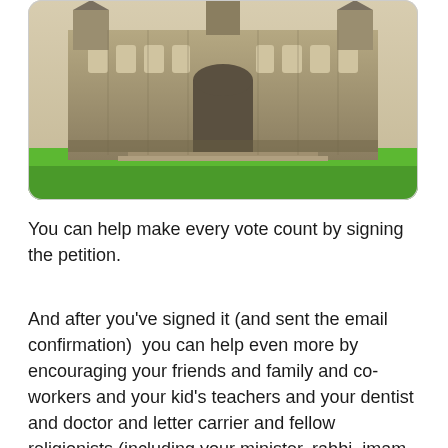[Figure (photo): Vintage sepia-toned photograph of Canadian Parliament Buildings (Centre Block) with green lawn in the foreground, displayed with rounded corners]
You can help make every vote count by signing the petition.
And after you've signed it (and sent the email confirmation)  you can help even more by encouraging your friends and family and co-workers and your kid's teachers and your dentist and doctor and letter carrier and fellow religionists (including your minister, rabbi, imam or priest) … because *any* Canadian can and should sign this petition too.   You don't even need to be old enough to vote.  If you haven't yet hit voting age, signing now may